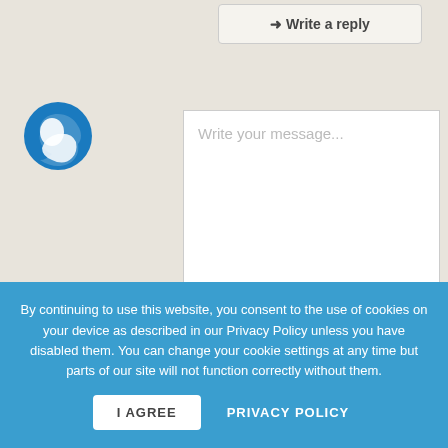[Figure (other): Reply button bar at top with arrow icon and text 'Write a reply']
[Figure (logo): Blue circular logo with stylized person/swirl icon]
Write your message...
Your name
By continuing to use this website, you consent to the use of cookies on your device as described in our Privacy Policy unless you have disabled them. You can change your cookie settings at any time but parts of our site will not function correctly without them.
I AGREE
PRIVACY POLICY